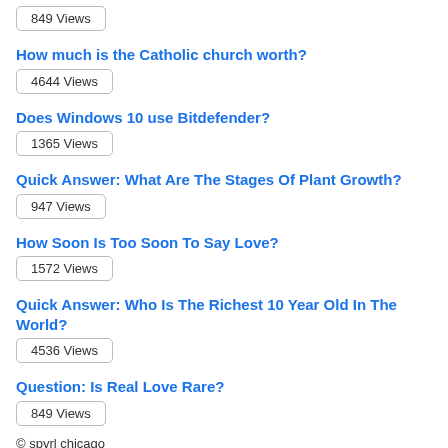849 Views
How much is the Catholic church worth?
4644 Views
Does Windows 10 use Bitdefender?
1365 Views
Quick Answer: What Are The Stages Of Plant Growth?
947 Views
How Soon Is Too Soon To Say Love?
1572 Views
Quick Answer: Who Is The Richest 10 Year Old In The World?
4536 Views
Question: Is Real Love Rare?
849 Views
© spyrl chicago